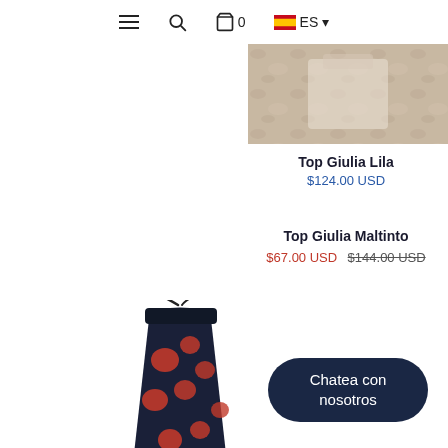≡ 🔍 🛍 0 ES
[Figure (photo): Partial cropped view of a product (Top Giulia Lila) on a stone/marble surface background]
Top Giulia Lila
$124.00 USD
Top Giulia Maltinto
$67.00 USD  $144.00 USD
[Figure (photo): Dark navy skirt with red rose/floral pattern and a black tie/ribbon at the waist]
Chatea con nosotros